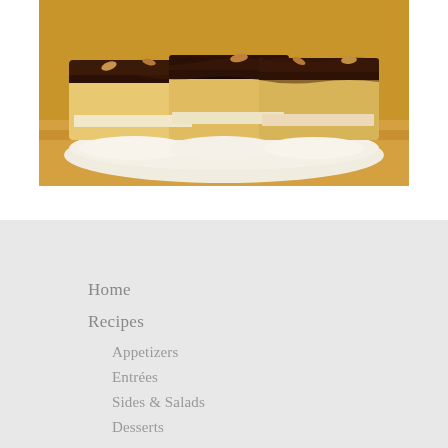[Figure (photo): Close-up photo of chocolate-topped pastry or cake slices on a wooden surface, showing dark chocolate glaze over layered cake with white paper liners]
Home
Recipes
Appetizers
Entrées
Sides & Salads
Desserts